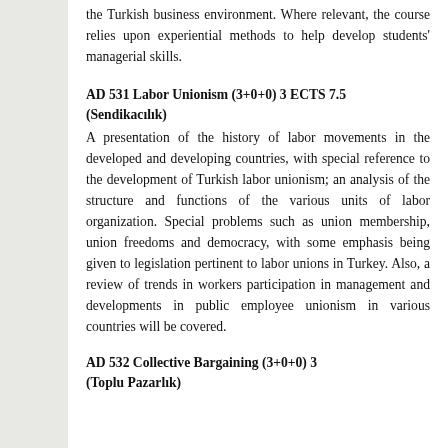the Turkish business environment. Where relevant, the course relies upon experiential methods to help develop students' managerial skills.
AD 531 Labor Unionism (3+0+0) 3 ECTS 7.5 (Sendikacılık)
A presentation of the history of labor movements in the developed and developing countries, with special reference to the development of Turkish labor unionism; an analysis of the structure and functions of the various units of labor organization. Special problems such as union membership, union freedoms and democracy, with some emphasis being given to legislation pertinent to labor unions in Turkey. Also, a review of trends in workers participation in management and developments in public employee unionism in various countries will be covered.
AD 532 Collective Bargaining (3+0+0) 3 (Toplu Pazarlık)